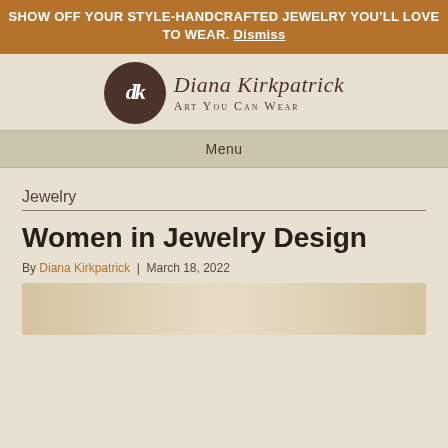SHOW OFF YOUR STYLE-HANDCRAFTED JEWELRY YOU'LL LOVE TO WEAR. Dismiss
[Figure (logo): Diana Kirkpatrick Art You Can Wear logo with circular dark brown emblem and cursive text]
Menu
Jewelry
Women in Jewelry Design
By Diana Kirkpatrick | March 18, 2022
[Figure (photo): Partial image of pearl jewelry at the bottom of the page]